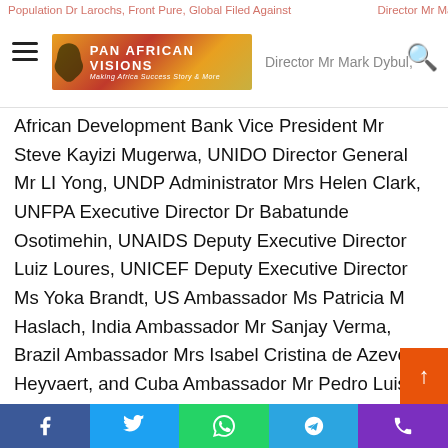Population Dr Larochs, Front Pure, Global Filed Against Executive Director Mr Mark Dybul,
[Figure (logo): Pan African Visions logo with Africa silhouette and tagline 'Making Africa Success Story' on gradient orange-red background]
African Development Bank Vice President Mr Steve Kayizi Mugerwa, UNIDO Director General Mr LI Yong, UNDP Administrator Mrs Helen Clark, UNFPA Executive Director Dr Babatunde Osotimehin, UNAIDS Deputy Executive Director Luiz Loures, UNICEF Deputy Executive Director Ms Yoka Brandt, US Ambassador Ms Patricia M Haslach, India Ambassador Mr Sanjay Verma, Brazil Ambassador Mrs Isabel Cristina de Azevedo Heyvaert, and Cuba Ambassador Mr Pedro Luis Pedroso Cuesta commended the Government of Ethiopia for developing such a comprehensive national strategy and plan of action, which is indeed a visionary programme of action. If implemented from a value chain perspective, and with commitment to ensure sustainability by making the required investments and forging strategic
Facebook Twitter WhatsApp Telegram Phone